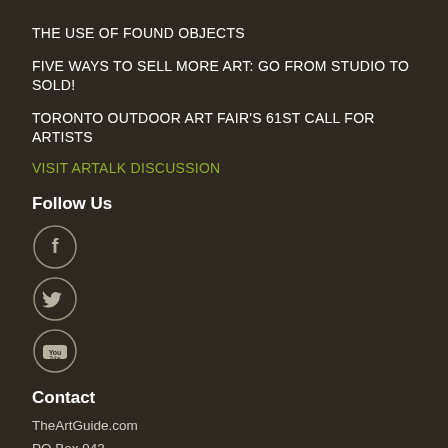THE USE OF FOUND OBJECTS
FIVE WAYS TO SELL MORE ART: GO FROM STUDIO TO SOLD!
TORONTO OUTDOOR ART FAIR'S 61ST CALL FOR ARTISTS
VISIT ARTALK DISCUSSION
Follow Us
[Figure (illustration): Three circular social media icons: Facebook (f), Twitter (bird), YouTube (YouTube logo)]
Contact
TheArtGuide.com
PO Box 943